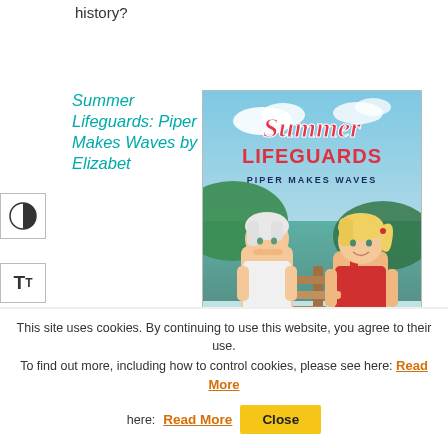history?
Summer Lifeguards: Piper Makes Waves by Elizabet
[Figure (illustration): Book cover for 'Summer Lifeguards: Piper Makes Waves' showing two animated teenage girls — one with white/silver hair and one with blonde hair in a ponytail — standing near a beach dock with ocean and sky in the background. The title 'Summer Lifeguards' appears in large red letters with 'PIPER MAKES WAVES' beneath in navy.]
This site uses cookies. By continuing to use this website, you agree to their use. To find out more, including how to control cookies, please see here: Read More  Close